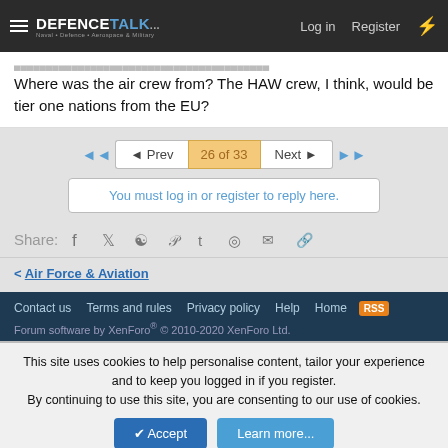DEFENCETALK — Log in  Register
Where was the air crew from? The HAW crew, I think, would be tier one nations from the EU?
◄◄  ◄ Prev  26 of 33  Next ►  ►►
You must log in or register to reply here.
Share:  f  Twitter  Reddit  Pinterest  Tumblr  WhatsApp  Email  Link
< Air Force & Aviation
Contact us  Terms and rules  Privacy policy  Help  Home  RSS  Forum software by XenForo® © 2010-2020 XenForo Ltd.
This site uses cookies to help personalise content, tailor your experience and to keep you logged in if you register. By continuing to use this site, you are consenting to our use of cookies.  Accept  Learn more...